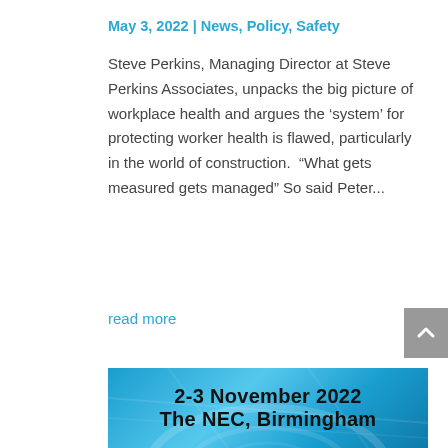May 3, 2022 | News, Policy, Safety
Steve Perkins, Managing Director at Steve Perkins Associates, unpacks the big picture of workplace health and argues the ‘system’ for protecting worker health is flawed, particularly in the world of construction.  “What gets measured gets managed” So said Peter...
read more
[Figure (photo): Event banner image with blue background showing road/infrastructure, overlaid text: 2-3 November 2022, The NEC, Birmingham]